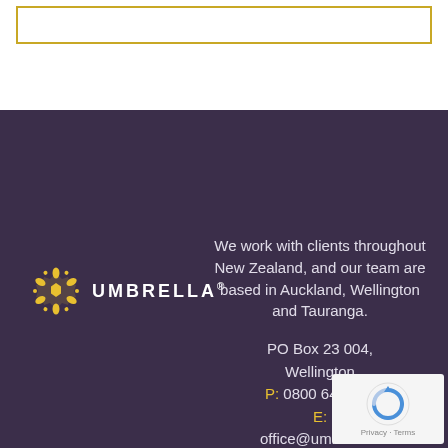[Figure (logo): Umbrella company logo: gold circular snowflake/star icon followed by 'UMBRELLA' in white bold uppercase letters with registered trademark symbol]
We work with clients throughout New Zealand, and our team are based in Auckland, Wellington and Tauranga.
PO Box 23 004, Wellington
P: 0800 643 000
E:
office@umbrella.c[o.nz]